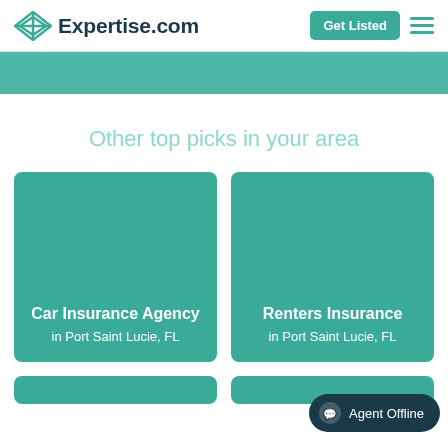[Figure (logo): Expertise.com logo with teal diamond/knot icon and dark blue bold text]
Get Listed
[Figure (other): Hamburger menu icon with three teal horizontal lines]
Other top picks in your area
Car Insurance Agency in Port Saint Lucie, FL
Renters Insurance in Port Saint Lucie, FL